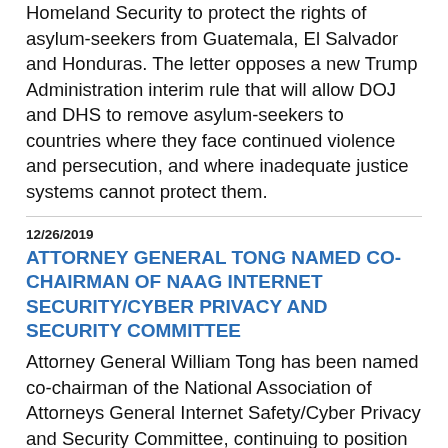Homeland Security to protect the rights of asylum-seekers from Guatemala, El Salvador and Honduras. The letter opposes a new Trump Administration interim rule that will allow DOJ and DHS to remove asylum-seekers to countries where they face continued violence and persecution, and where inadequate justice systems cannot protect them.
12/26/2019
ATTORNEY GENERAL TONG NAMED CO-CHAIRMAN OF NAAG INTERNET SECURITY/CYBER PRIVACY AND SECURITY COMMITTEE
Attorney General William Tong has been named co-chairman of the National Association of Attorneys General Internet Safety/Cyber Privacy and Security Committee, continuing to position the Connecticut Office of the Attorney General as a national leader on digital privacy and online consumer protection. Among the issues the committee will